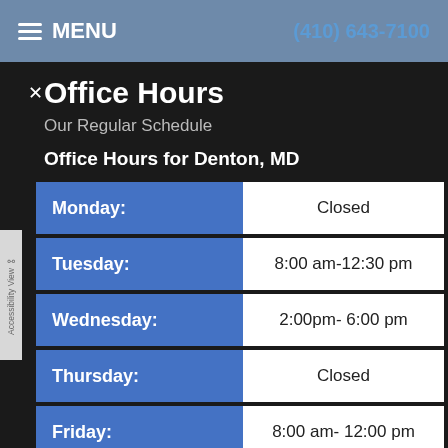MENU   (410) 643-7100
Office Hours
Our Regular Schedule
Office Hours for Denton, MD
| Day | Hours |
| --- | --- |
| Monday: | Closed |
| Tuesday: | 8:00 am-12:30 pm |
| Wednesday: | 2:00pm- 6:00 pm |
| Thursday: | Closed |
| Friday: | 8:00 am- 12:00 pm |